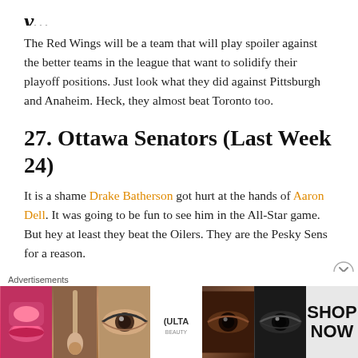The Red Wings will be a team that will play spoiler against the better teams in the league that want to solidify their playoff positions. Just look what they did against Pittsburgh and Anaheim. Heck, they almost beat Toronto too.
27. Ottawa Senators (Last Week 24)
It is a shame Drake Batherson got hurt at the hands of Aaron Dell. It was going to be fun to see him in the All-Star game. But hey at least they beat the Oilers. They are the Pesky Sens for a reason.
28. Buffalo Sabres (Last Week 30)
The Sabres have two nice pieces to build around going
[Figure (other): ULTA Beauty advertisement banner with cosmetics imagery and 'SHOP NOW' text]
Advertisements